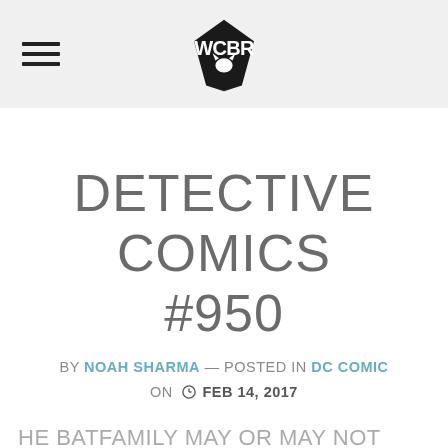WCBR logo with hamburger menu
DETECTIVE COMICS #950
BY NOAH SHARMA — POSTED IN DC COMICS ON FEB 14, 2017
THE BATFAMILY MAY OR MAY NOT BELIEVE IN GHOSTS, BUT GHOSTS BELIEVE IN THEM...